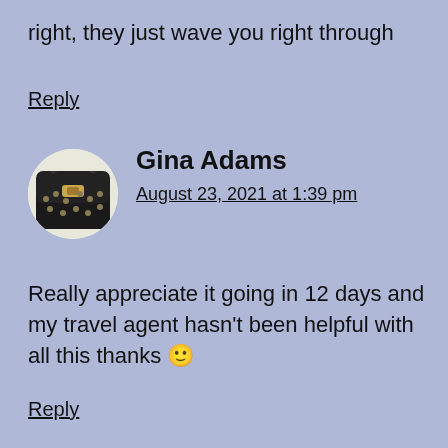right, they just wave you right through
Reply
[Figure (photo): Circular avatar image showing a dark handbag with gold studs and clasp on a light background]
Gina Adams
August 23, 2021 at 1:39 pm
Really appreciate it going in 12 days and my travel agent hasn't been helpful with all this thanks 🙂
Reply